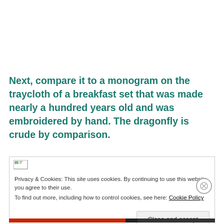Next, compare it to a monogram on the traycloth of a breakfast set that was made nearly a hundred years old and was embroidered by hand. The dragonfly is crude by comparison.
Privacy & Cookies: This site uses cookies. By continuing to use this website, you agree to their use.
To find out more, including how to control cookies, see here: Cookie Policy